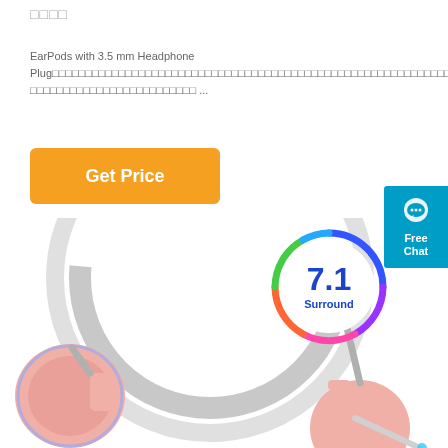□□□□
EarPods with 3.5 mm Headphone Plug□□□□□□□□□□□□□□□□□□□□□□□□□□□□□□□□□□□□□□□□□□□□□□□□□□□□□□□□□□□□□□□□□□□□□□□ ...
[Figure (other): Orange 'Get Price' button]
[Figure (other): Blue 'Free Chat' button on right side]
[Figure (photo): Pink and white gaming headset with 7.1 Surround sound badge]
[Figure (infographic): 7.1 Surround circular rainbow badge]